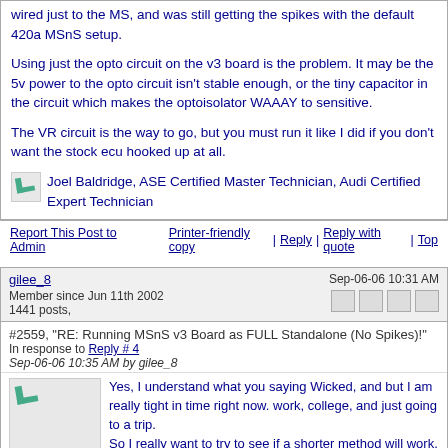wired just to the MS, and was still getting the spikes with the default 420a MSnS setup.
Using just the opto circuit on the v3 board is the problem. It may be the 5v power to the opto circuit isn't stable enough, or the tiny capacitor in the circuit which makes the optoisolator WAAAY to sensitive.
The VR circuit is the way to go, but you must run it like I did if you don't want the stock ecu hooked up at all.
Joel Baldridge, ASE Certified Master Technician, Audi Certified Expert Technician
Report This Post to Admin    Printer-friendly copy | Reply | Reply with quote | Top
gilee_8
Member since Jun 11th 2002
1441 posts,
Sep-06-06 10:31 AM
#2559, "RE: Running MSnS v3 Board as FULL Standalone (No Spikes)!"
In response to Reply # 4
Sep-06-06 10:35 AM by gilee_8
Yes, I understand what you saying Wicked, and but I am really tight in time right now. work, college, and just going to a trip.
So I really want to try to see if a shorter method will work.
I just want to eliminate the RPM SPIKE for now, so if only